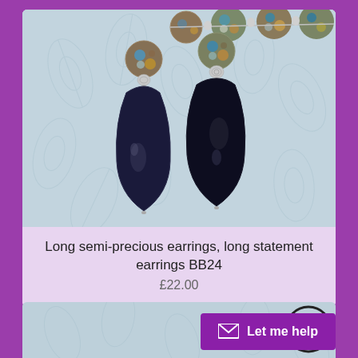[Figure (photo): Close-up photo of two long drop earrings with dark navy blue teardrop-shaped gemstone pendants and multicolored decorative beads on top, laid on a light blue/grey floral fabric background. Additional decorative beads are visible in the background.]
Long semi-precious earrings, long statement earrings BB24
£22.00
[Figure (photo): Partial view of a second product listing showing a similar light blue/grey floral fabric background, with a circular scroll-to-top arrow button overlay and a 'Let me help' chat button in purple.]